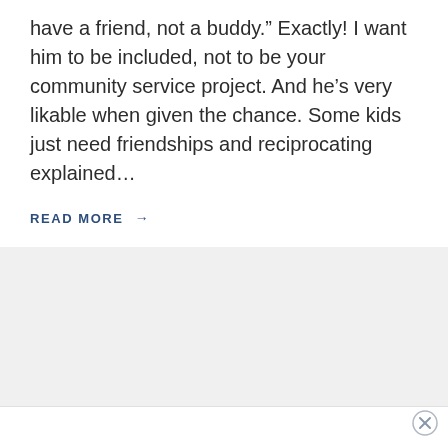have a friend, not a buddy.” Exactly! I want him to be included, not to be your community service project. And he’s very likable when given the chance. Some kids just need friendships and reciprocating explained...
READ MORE →